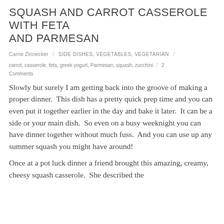SQUASH AND CARROT CASSEROLE WITH FETA AND PARMESAN
Carrie Zinnecker / SIDE DISHES, VEGETABLES, VEGETARIAN /
carrot, casserole, feta, greek yogurt, Parmesan, squash, zucchini / 2 Comments
Slowly but surely I am getting back into the groove of making a proper dinner.  This dish has a pretty quick prep time and you can even put it together earlier in the day and bake it later.  It can be a side or your main dish.  So even on a busy weeknight you can have dinner together without much fuss.  And you can use up any summer squash you might have around!
Once at a pot luck dinner a friend brought this amazing, creamy, cheesy squash casserole.  She described the